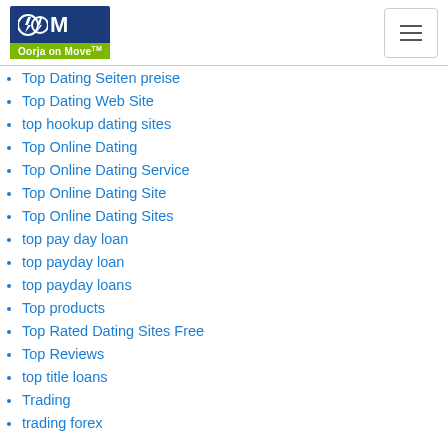Oorja on Move
Top Dating Seiten preise
Top Dating Web Site
top hookup dating sites
Top Online Dating
Top Online Dating Service
Top Online Dating Site
Top Online Dating Sites
top pay day loan
top payday loan
top payday loans
Top products
Top Rated Dating Sites Free
Top Reviews
top title loans
Trading
trading forex